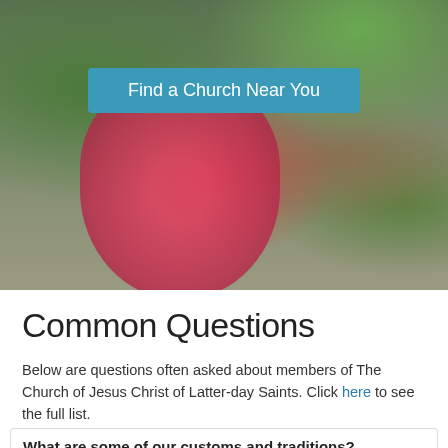[Figure (photo): Photo of people outside, one person wearing a bright pink/red backpack and another in a green polka-dot top, with greenery in background. A teal button overlay reads 'Find a Church Near You'.]
Common Questions
Below are questions often asked about members of The Church of Jesus Christ of Latter-day Saints. Click here to see the full list.
What are some of our customs and traditions?